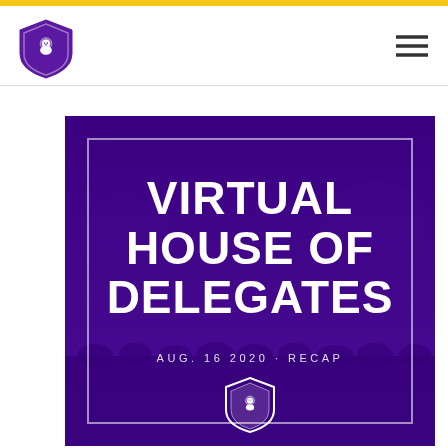[Figure (logo): Purple lion shield logo in header navigation bar]
[Figure (illustration): Virtual House of Delegates event graphic. Purple background with group photo overlay. White text reads 'VIRTUAL HOUSE OF DELEGATES' and 'AUG. 16 2020 - RECAP'. A white lion shield logo appears at the bottom center. A white rectangular border frames the inner content.]